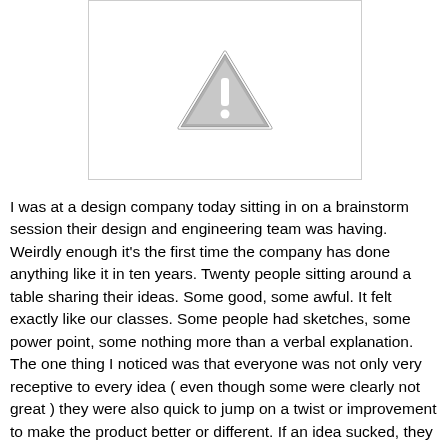[Figure (other): A placeholder image box with a gray warning triangle (exclamation mark) icon centered within a white rectangle with a light gray border.]
I was at a design company today sitting in on a brainstorm session their design and engineering team was having. Weirdly enough it's the first time the company has done anything like it in ten years. Twenty people sitting around a table sharing their ideas. Some good, some awful. It felt exactly like our classes. Some people had sketches, some power point, some nothing more than a verbal explanation. The one thing I noticed was that everyone was not only very receptive to every idea ( even though some were clearly not great ) they were also quick to jump on a twist or improvement to make the product better or different. If an idea sucked, they would tease the person, but then analyze the strengths that made the person think it had some merit in